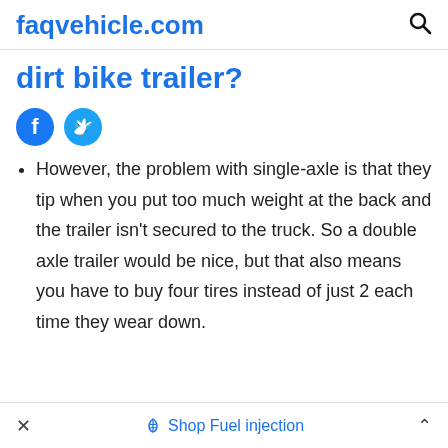faqvehicle.com
dirt bike trailer?
[Figure (other): Facebook and Twitter social share buttons (circular icons)]
However, the problem with single-axle is that they tip when you put too much weight at the back and the trailer isn't secured to the truck. So a double axle trailer would be nice, but that also means you have to buy four tires instead of just 2 each time they wear down.
× Shop Fuel injection ^